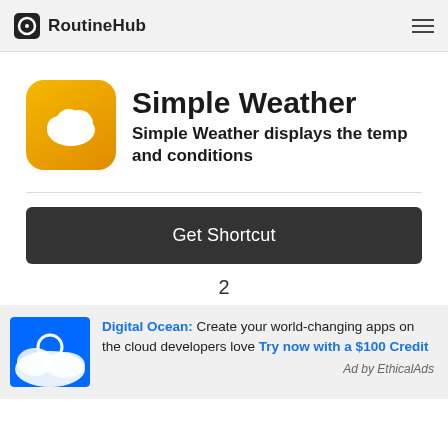RoutineHub
[Figure (logo): Simple Weather app icon — rounded square with orange/yellow gradient background and white cloud symbol]
Simple Weather
Simple Weather displays the temp and conditions
Get Shortcut
2
[Figure (logo): DigitalOcean logo banner — blue and white cloud with DigitalOcean wordmark]
Digital Ocean: Create your world-changing apps on the cloud developers love Try now with a $100 Credit
Ad by EthicalAds